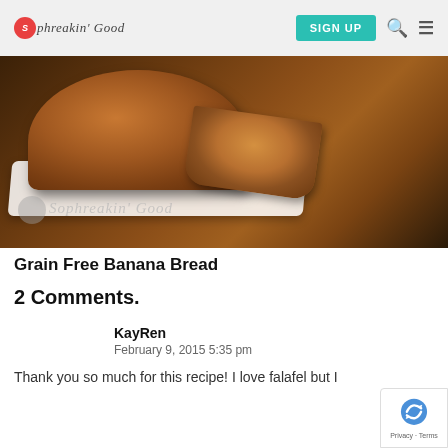Sophreakin' Good | SIGN UP
[Figure (photo): A loaf of grain free banana bread on a white plate, with a slice cut from it, displayed on a dark surface. Watermark reads Sophreakin' Good.]
Grain Free Banana Bread
2 Comments.
KayRen
February 9, 2015 5:35 pm
Thank you so much for this recipe! I love falafel but I